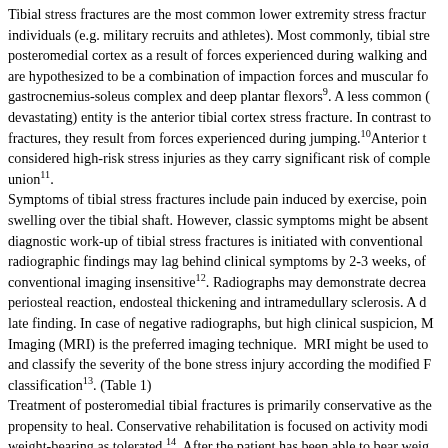Tibial stress fractures are the most common lower extremity stress fractures in active individuals (e.g. military recruits and athletes). Most commonly, tibial stress fractures affect the posteromedial cortex as a result of forces experienced during walking and running. The forces are hypothesized to be a combination of impaction forces and muscular forces from the gastrocnemius-soleus complex and deep plantar flexors9. A less common (but potentially devastating) entity is the anterior tibial cortex stress fracture. In contrast to posteromedial fractures, they result from forces experienced during jumping.10 Anterior tibial cortex fractures are considered high-risk stress injuries as they carry significant risk of complete fracture and delayed union11. Symptoms of tibial stress fractures include pain induced by exercise, point tenderness, and swelling over the tibial shaft. However, classic symptoms might be absent in all patients. The diagnostic work-up of tibial stress fractures is initiated with conventional radiographs; however radiographic findings may lag behind clinical symptoms by 2-3 weeks, often making conventional imaging insensitive12. Radiographs may demonstrate decreased bone density, periosteal reaction, endosteal thickening and intramedullary sclerosis. A dreaded black line is a late finding. In case of negative radiographs, but high clinical suspicion, Magnetic Resonance Imaging (MRI) is the preferred imaging technique.  MRI might be used to detect, characterize, and classify the severity of the bone stress injury according the modified Fredericson classification13. (Table 1) Treatment of posteromedial tibial fractures is primarily conservative as they have a good propensity to heal. Conservative rehabilitation is focused on activity modification and weight-bearing as tolerated 14. After the patient has been able to bear weight pain-free for 2 weeks, progressive return to full impact activities can be initiated. Non-steroidal anti-inflammatory drugs (NSAIDs) should be avoided as they may hamper bone healing. For the tibial stress fractures, surgery would be highly indicated...